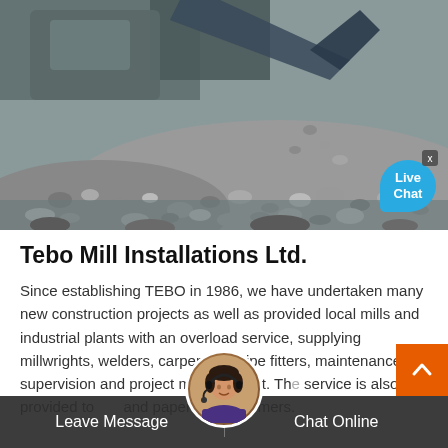[Figure (photo): Heavy machinery / excavator loading crushed rock/gravel at an industrial site. Large pile of gravel dominates the foreground with the machine arm visible in the upper portion. A blue 'Live Chat' speech bubble appears in the lower right corner.]
Tebo Mill Installations Ltd.
Since establishing TEBO in 1986, we have undertaken many new construction projects as well as provided local mills and industrial plants with an overload service, supplying millwrights, welders, carpenters, pipe fitters, maintenance supervision and project management. Th service is also provided to and paper mill customers.
Leave Message   Chat Online